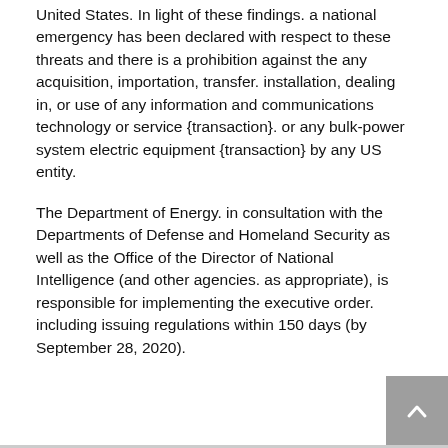United States. In light of these findings. a national emergency has been declared with respect to these threats and there is a prohibition against the any acquisition, importation, transfer. installation, dealing in, or use of any information and communications technology or service {transaction}. or any bulk-power system electric equipment {transaction} by any US entity.
The Department of Energy. in consultation with the Departments of Defense and Homeland Security as well as the Office of the Director of National Intelligence (and other agencies. as appropriate), is responsible for implementing the executive order. including issuing regulations within 150 days (by September 28, 2020).